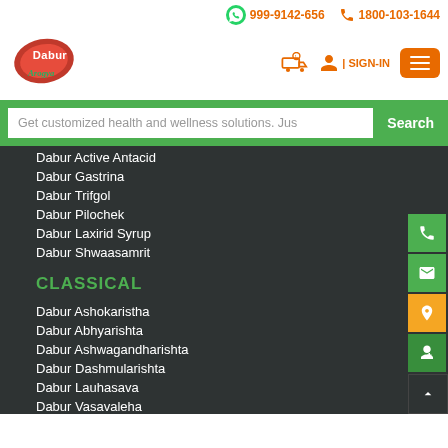999-9142-656  1800-103-1644
[Figure (logo): Dabur Arogya logo - red and green brand logo]
SIGN-IN
Get customized health and wellness solutions. Jus
Dabur Active Antacid
Dabur Gastrina
Dabur Trifgol
Dabur Pilochek
Dabur Laxirid Syrup
Dabur Shwaasamrit
CLASSICAL
Dabur Ashokaristha
Dabur Abhyarishta
Dabur Ashwagandharishta
Dabur Dashmularishta
Dabur Lauhasava
Dabur Vasavaleha